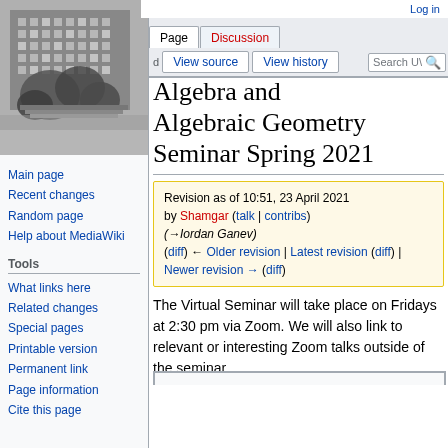[Figure (photo): Black and white photo of a building with trees in the foreground]
Main page
Recent changes
Random page
Help about MediaWiki
Tools
What links here
Related changes
Special pages
Printable version
Permanent link
Page information
Cite this page
Log in
Algebra and Algebraic Geometry Seminar Spring 2021
Revision as of 10:51, 23 April 2021 by Shamgar (talk | contribs) (→Iordan Ganev) (diff) ← Older revision | Latest revision (diff) | Newer revision → (diff)
The Virtual Seminar will take place on Fridays at 2:30 pm via Zoom. We will also link to relevant or interesting Zoom talks outside of the seminar.